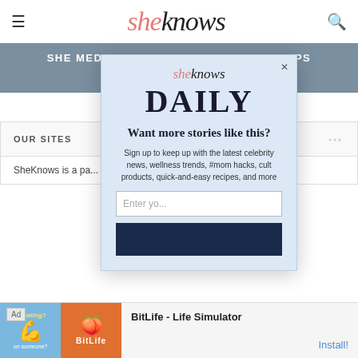sheknows
SHE MEDIA | STYLECASTER | SOAPS | BLOGHER
[Figure (screenshot): SheKnows Daily newsletter signup modal popup with email input field and subscribe button]
OUR SITES
SheKnows is a pa...
[Figure (infographic): Ad banner for BitLife - Life Simulator app with install button]